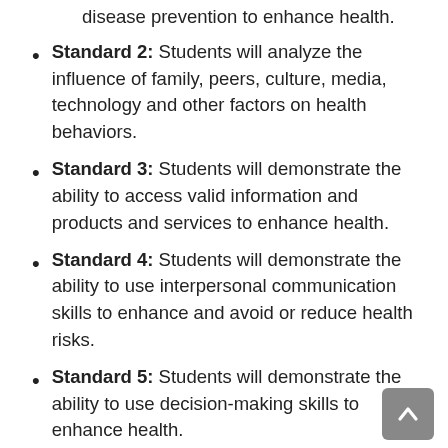disease prevention to enhance health.
Standard 2: Students will analyze the influence of family, peers, culture, media, technology and other factors on health behaviors.
Standard 3: Students will demonstrate the ability to access valid information and products and services to enhance health.
Standard 4: Students will demonstrate the ability to use interpersonal communication skills to enhance and avoid or reduce health risks.
Standard 5: Students will demonstrate the ability to use decision-making skills to enhance health.